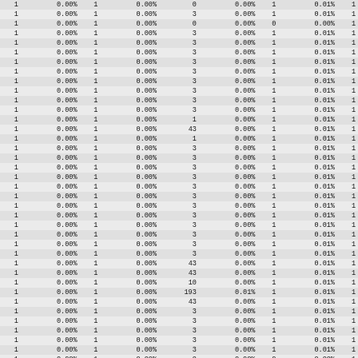| 1 | 0.00% | 1 | 0.00% | 0 | 0.00% | 1 | 0.01% | 1 |
| 1 | 0.00% | 1 | 0.00% | 3 | 0.00% | 1 | 0.01% | 1 |
| 1 | 0.00% | 1 | 0.00% | 0 | 0.00% | 0 | 0.00% | 1 |
| 1 | 0.00% | 1 | 0.00% | 3 | 0.00% | 1 | 0.01% | 1 |
| 1 | 0.00% | 1 | 0.00% | 3 | 0.00% | 1 | 0.01% | 1 |
| 1 | 0.00% | 1 | 0.00% | 3 | 0.00% | 1 | 0.01% | 1 |
| 1 | 0.00% | 1 | 0.00% | 3 | 0.00% | 1 | 0.01% | 1 |
| 1 | 0.00% | 1 | 0.00% | 3 | 0.00% | 1 | 0.01% | 1 |
| 1 | 0.00% | 1 | 0.00% | 3 | 0.00% | 1 | 0.01% | 1 |
| 1 | 0.00% | 1 | 0.00% | 3 | 0.00% | 1 | 0.01% | 1 |
| 1 | 0.00% | 1 | 0.00% | 3 | 0.00% | 1 | 0.01% | 1 |
| 1 | 0.00% | 1 | 0.00% | 3 | 0.00% | 1 | 0.01% | 1 |
| 1 | 0.00% | 1 | 0.00% | 1 | 0.00% | 1 | 0.01% | 1 |
| 1 | 0.00% | 1 | 0.00% | 43 | 0.00% | 1 | 0.01% | 1 |
| 1 | 0.00% | 1 | 0.00% | 1 | 0.00% | 1 | 0.01% | 1 |
| 1 | 0.00% | 1 | 0.00% | 3 | 0.00% | 1 | 0.01% | 1 |
| 1 | 0.00% | 1 | 0.00% | 3 | 0.00% | 1 | 0.01% | 1 |
| 1 | 0.00% | 1 | 0.00% | 3 | 0.00% | 1 | 0.01% | 1 |
| 1 | 0.00% | 1 | 0.00% | 3 | 0.00% | 1 | 0.01% | 1 |
| 1 | 0.00% | 1 | 0.00% | 3 | 0.00% | 1 | 0.01% | 1 |
| 1 | 0.00% | 1 | 0.00% | 3 | 0.00% | 1 | 0.01% | 1 |
| 1 | 0.00% | 1 | 0.00% | 3 | 0.00% | 1 | 0.01% | 1 |
| 1 | 0.00% | 1 | 0.00% | 3 | 0.00% | 1 | 0.01% | 1 |
| 1 | 0.00% | 1 | 0.00% | 3 | 0.00% | 1 | 0.01% | 1 |
| 1 | 0.00% | 1 | 0.00% | 3 | 0.00% | 1 | 0.01% | 1 |
| 1 | 0.00% | 1 | 0.00% | 3 | 0.00% | 1 | 0.01% | 1 |
| 1 | 0.00% | 1 | 0.00% | 3 | 0.00% | 1 | 0.01% | 1 |
| 1 | 0.00% | 1 | 0.00% | 3 | 0.00% | 1 | 0.01% | 1 |
| 1 | 0.00% | 1 | 0.00% | 43 | 0.00% | 1 | 0.01% | 1 |
| 1 | 0.00% | 1 | 0.00% | 43 | 0.00% | 1 | 0.01% | 1 |
| 1 | 0.00% | 1 | 0.00% | 10 | 0.00% | 1 | 0.01% | 1 |
| 1 | 0.00% | 1 | 0.00% | 193 | 0.01% | 1 | 0.01% | 1 |
| 1 | 0.00% | 1 | 0.00% | 43 | 0.00% | 1 | 0.01% | 1 |
| 1 | 0.00% | 1 | 0.00% | 3 | 0.00% | 1 | 0.01% | 1 |
| 1 | 0.00% | 1 | 0.00% | 3 | 0.00% | 1 | 0.01% | 1 |
| 1 | 0.00% | 1 | 0.00% | 3 | 0.00% | 1 | 0.01% | 1 |
| 1 | 0.00% | 1 | 0.00% | 3 | 0.00% | 1 | 0.01% | 1 |
| 1 | 0.00% | 1 | 0.00% | 3 | 0.00% | 1 | 0.01% | 1 |
| 1 | 0.00% | 1 | 0.00% | 0 | 0.00% | 0 | 0.00% | 1 |
| 1 | 0.00% | 1 | 0.00% | 3 | 0.00% | 1 | 0.01% | 1 |
| 1 | 0.00% | 1 | 0.00% | 3 | 0.00% | 1 | 0.01% | 1 |